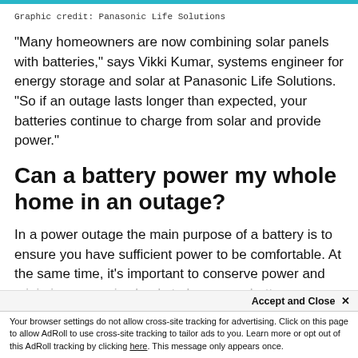Graphic credit: Panasonic Life Solutions
"Many homeowners are now combining solar panels with batteries," says Vikki Kumar, systems engineer for energy storage and solar at Panasonic Life Solutions. "So if an outage lasts longer than expected, your batteries continue to charge from solar and provide power."
Can a battery power my whole home in an outage?
In a power outage the main purpose of a battery is to ensure you have sufficient power to be comfortable. At the same time, it's important to conserve power and minimize excessive loads to keep your batte...
Accept and Close ✕ Your browser settings do not allow cross-site tracking for advertising. Click on this page to allow AdRoll to use cross-site tracking to tailor ads to you. Learn more or opt out of this AdRoll tracking by clicking here. This message only appears once.